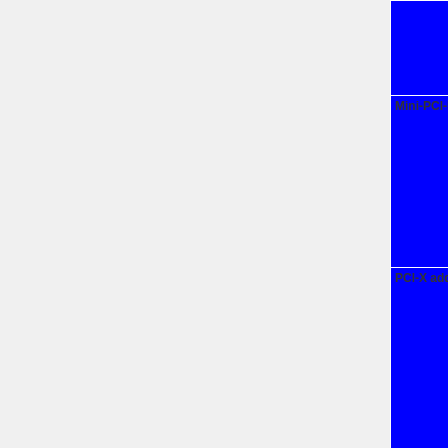| Category | Status |
| --- | --- |
| (row 0 - partially visible) | InB=4.5/4gpri ellow [?] | Unknown |
| Mini-PCl-Express add-on cards | OK=lime | TODO=red | No=red | WIP=orange | Unknown=unk | InB=4.5/4gpri ellow [?] | Unknown |
| PCl-X add-on cards | OK=lime | TODO=red | No=red | WIP=orange | Unknown=unk | InB=4.5/4gpri ellow [?] | Unknown |
| AGP graphics cards | OK=lime | TODO=red | No=red | WIP=orange |